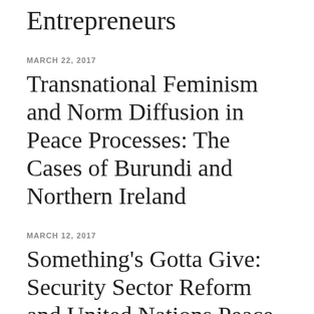Entrepreneurs
MARCH 22, 2017
Transnational Feminism and Norm Diffusion in Peace Processes: The Cases of Burundi and Northern Ireland
MARCH 12, 2017
Something's Gotta Give: Security Sector Reform and United Nations Peace